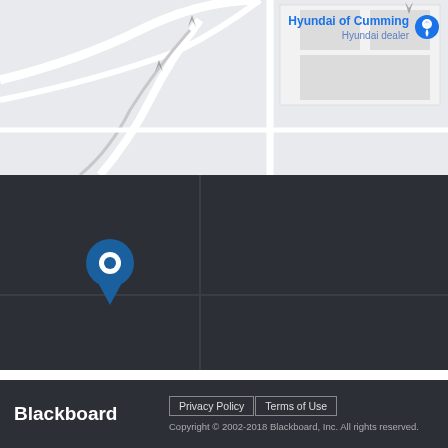[Figure (map): Google Maps screenshot showing street map with Hyundai of Cumming marker in upper right, and a dark map view with a blue location pin pointing to Shiloh Point Elementary School area]
SHILOH POINT Elementary
School Start Times
8145 Majors Road, Cumming, GA 30041
(678) 341-6481 | FAX (678) 341-6491 | Legal/Non-Discrimination Notice
Blackboard | Privacy Policy | Terms of Use | Copyright © 2002-2018 Blackboard, Inc. All rights reserved.